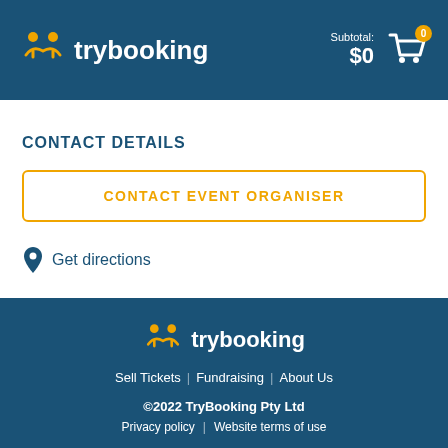trybooking — Subtotal: $0
CONTACT DETAILS
CONTACT EVENT ORGANISER
Get directions
trybooking — Sell Tickets | Fundraising | About Us — ©2022 TryBooking Pty Ltd — Privacy policy | Website terms of use